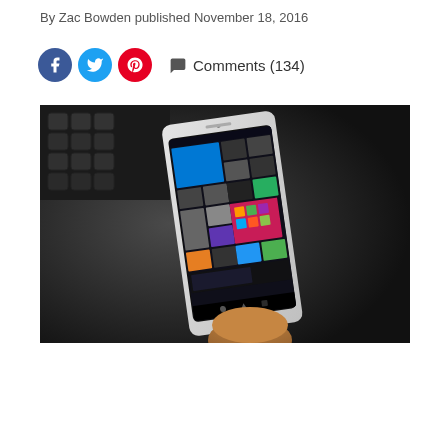By Zac Bowden published November 18, 2016
Comments (134)
[Figure (photo): A hand holding a white Windows 10 Mobile smartphone showing the Start screen with colorful live tiles, photographed against a dark background with a keyboard visible in the upper left.]